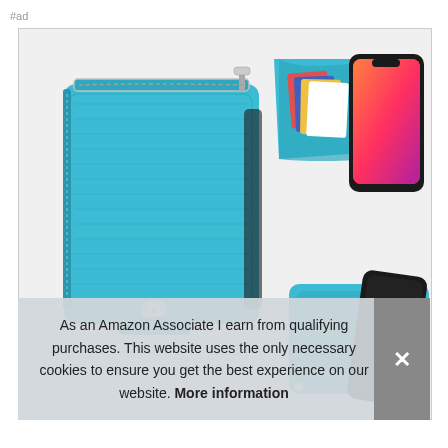#ad
[Figure (photo): Blue leather wallet phone case shown in three views: closed wallet with zipper, open wallet showing cards and phone, and back view with phone attached. Teal/blue color with silver zipper and snap button.]
As an Amazon Associate I earn from qualifying purchases. This website uses the only necessary cookies to ensure you get the best experience on our website. More information